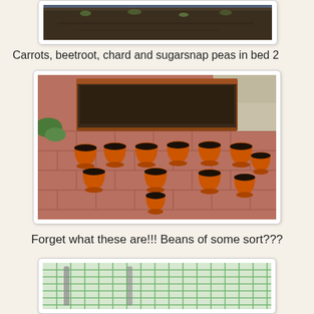[Figure (photo): Top portion of a garden raised bed with dark soil, partially visible at top of page]
Carrots, beetroot, chard and sugarsnap peas in bed 2
[Figure (photo): A brown rectangular planter box filled with dark soil, surrounded by multiple orange terracotta pots filled with dark soil on a brick patio]
Forget what these are!!! Beans of some sort???
[Figure (photo): Green mesh/netting covering a garden frame structure, partially visible at bottom of page]